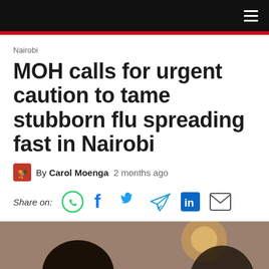MOH calls for urgent caution to tame stubborn flu spreading fast in Nairobi
Nairobi
MOH calls for urgent caution to tame stubborn flu spreading fast in Nairobi
By Carol Moenga  2 months ago
Share on:
[Figure (photo): Bottom portion of article page showing the top of a photograph with a person visible from shoulders up, head bowed, in an indoor setting with warm lighting and a mirror in background.]